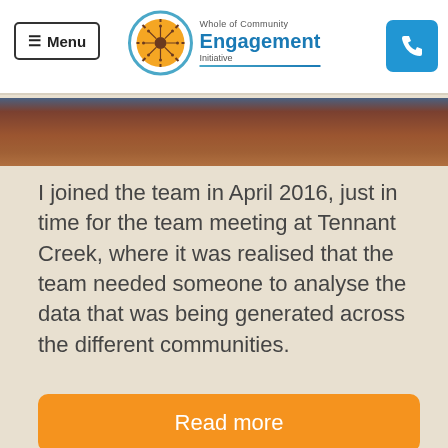≡ Menu | Whole of Community Engagement Initiative
[Figure (photo): Top portion of a photograph showing reddish-brown dirt/earth terrain]
I joined the team in April 2016, just in time for the team meeting at Tennant Creek, where it was realised that the team needed someone to analyse the data that was being generated across the different communities.
Read more
Posted in Team Reflections
29 November 2017